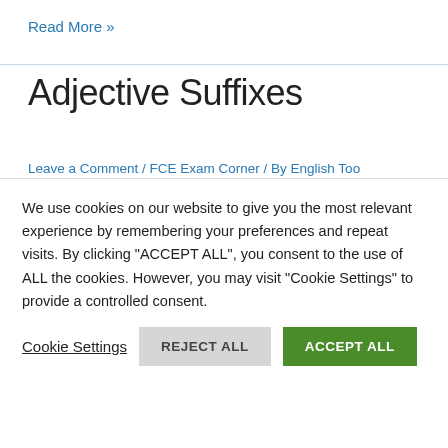Read More »
Adjective Suffixes
Leave a Comment / FCE Exam Corner / By English Too
Prefix and Suffix Types Understanding when to use prefixes and suffixes correctly are an important part of doing the word formation exercise , which is Part 3 in the Use of English exam. In the example in the image above we can see how we
We use cookies on our website to give you the most relevant experience by remembering your preferences and repeat visits. By clicking "ACCEPT ALL", you consent to the use of ALL the cookies. However, you may visit "Cookie Settings" to provide a controlled consent.
Cookie Settings   REJECT ALL   ACCEPT ALL